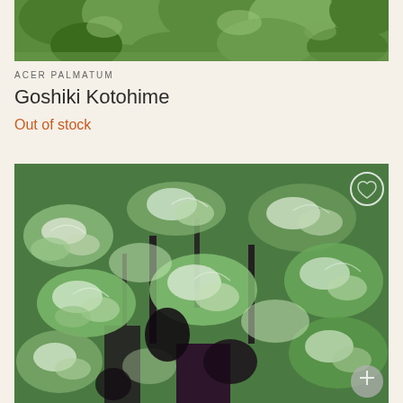[Figure (photo): Close-up photo of Acer palmatum Goshiki Kotohime plant with green maple-like leaves visible at top of page]
ACER PALMATUM
Goshiki Kotohime
Out of stock
[Figure (photo): Large close-up photo of a variegated plant with green and white leaves, showing dense foliage with dark stems, with a small circular icon overlay in top right and bottom right corners]